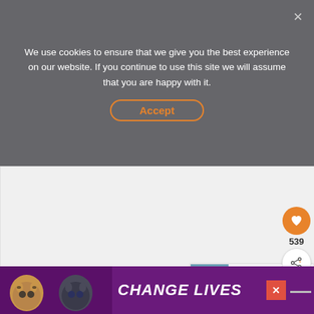We use cookies to ensure that we give you the best experience on our website. If you continue to use this site we will assume that you are happy with it.
Accept
[Figure (photo): Hero image area for article, shown as blank/loading placeholder with a heart (favorite) button showing 539 likes, and a share button on the right side]
[Figure (infographic): What's Next promo panel with thumbnail landscape photo and text: WHAT'S NEXT → 10 Unmissable Things To D...]
Summer is of course going to provide more favorable weather conditions but the roads will also be
[Figure (photo): Bottom advertisement banner with cat images and text CHANGE LIVES on purple background with close button and brand logo]